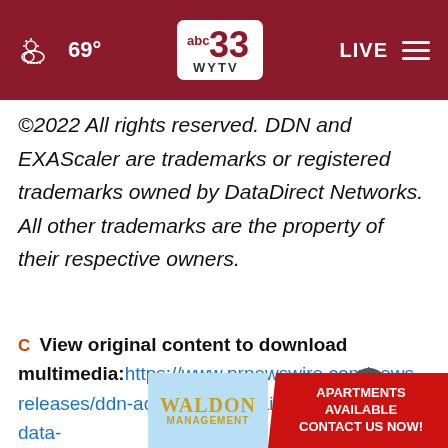abc 33 WYTV — 69° — LIVE
©2022 All rights reserved. DDN and EXAScaler are trademarks or registered trademarks owned by DataDirect Networks. All other trademarks are the property of their respective owners.
View original content to download multimedia: https://www.prnewswire.com/news-releases/ddn-adds-powerful-ai-software-to-its-data-...-produ...